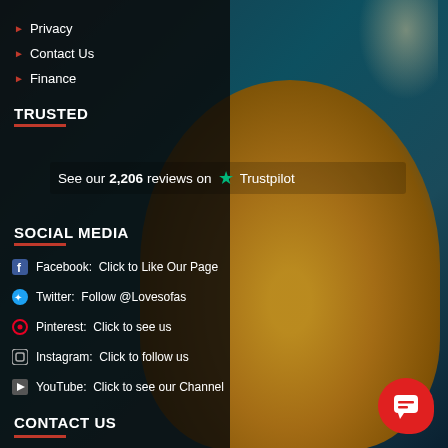Privacy
Contact Us
Finance
TRUSTED
See our 2,206 reviews on Trustpilot
SOCIAL MEDIA
Facebook:  Click to Like Our Page
Twitter:  Follow @Lovesofas
Pinterest:  Click to see us
Instagram:  Click to follow us
YouTube:  Click to see our Channel
CONTACT US
[Figure (photo): A yellow/gold tufted wingback armchair against a dark teal blue room with a framed mirror on the wall and a pendant lamp]